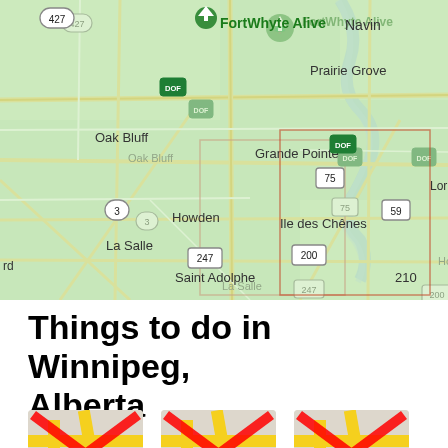[Figure (map): Google Maps screenshot showing area south of Winnipeg, Manitoba, Canada. Shows locations including FortWhyte Alive, Navin, Prairie Grove, Oak Bluff, Grande Pointe, Howden, Ile des Chenes, La Salle, Saint Adolphe, and route numbers 427, 3, 75, 59, 247, 200, 210.]
Things to do in Winnipeg, Alberta
[Figure (screenshot): Three map pin / location icons each with a large red X overlaid, indicating unavailable or broken images.]